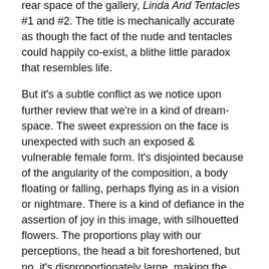rear space of the gallery, Linda And Tentacles #1 and #2. The title is mechanically accurate as though the fact of the nude and tentacles could happily co-exist, a blithe little paradox that resembles life.
But it's a subtle conflict as we notice upon further review that we're in a kind of dream-space. The sweet expression on the face is unexpected with such an exposed & vulnerable female form. It's disjointed because of the angularity of the composition, a body floating or falling, perhaps flying as in a vision or nightmare. There is a kind of defiance in the assertion of joy in this image, with silhouetted flowers. The proportions play with our perceptions, the head a bit foreshortened, but no, it's disproportionately large, making the female nude somewhat childlike by implication.